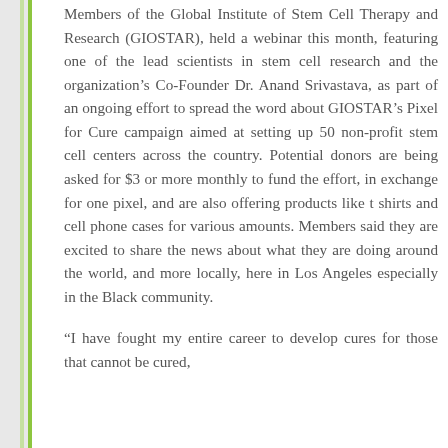Members of the Global Institute of Stem Cell Therapy and Research (GIOSTAR), held a webinar this month, featuring one of the lead scientists in stem cell research and the organization's Co-Founder Dr. Anand Srivastava, as part of an ongoing effort to spread the word about GIOSTAR's Pixel for Cure campaign aimed at setting up 50 non-profit stem cell centers across the country. Potential donors are being asked for $3 or more monthly to fund the effort, in exchange for one pixel, and are also offering products like t shirts and cell phone cases for various amounts. Members said they are excited to share the news about what they are doing around the world, and more locally, here in Los Angeles especially in the Black community.
“I have fought my entire career to develop cures for those that cannot be cured,